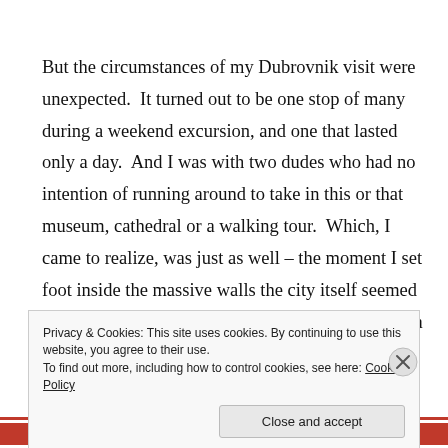But the circumstances of my Dubrovnik visit were unexpected.  It turned out to be one stop of many during a weekend excursion, and one that lasted only a day.  And I was with two dudes who had no intention of running around to take in this or that museum, cathedral or a walking tour.  Which, I came to realize, was just as well – the moment I set foot inside the massive walls the city itself seemed to demand we do anything other than race against a self-
Privacy & Cookies: This site uses cookies. By continuing to use this website, you agree to their use.
To find out more, including how to control cookies, see here: Cookie Policy